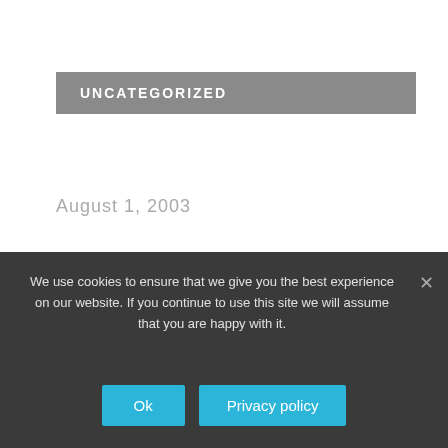UNCATEGORIZED
August 1, 2003
At West High School in Billings, more than 900 copies of the yearbook were handed out to students before administrators halted distribution because of a cartoon about that school year’s teacher strike.
We use cookies to ensure that we give you the best experience on our website. If you continue to use this site we will assume that you are happy with it.